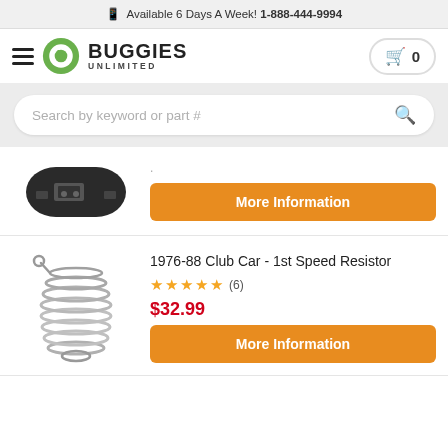📱 Available 6 Days A Week! 1-888-444-9994
[Figure (logo): Buggies Unlimited logo with green circular B icon and cart button showing 0 items]
[Figure (screenshot): Search bar with placeholder text 'Search by keyword or part #' and orange search icon]
[Figure (photo): Partial product image - black metal part (top of page product)]
More Information
[Figure (photo): Coiled spring resistor part image for 1976-88 Club Car 1st Speed Resistor]
1976-88 Club Car - 1st Speed Resistor
★★★★★ (6)
$32.99
More Information